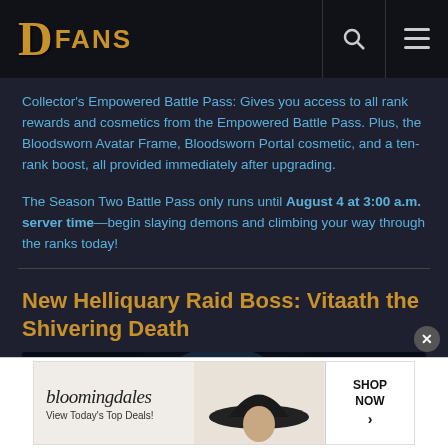DFANS
Collector's Empowered Battle Pass: Gives you access to all rank rewards and cosmetics from the Empowered Battle Pass. Plus, the Bloodsworn Avatar Frame, Bloodsworn Portal cosmetic, and a ten-rank boost, all provided immediately after upgrading.
The Season Two Battle Pass only runs until August 4 at 3:00 a.m. server time—begin slaying demons and climbing your way through the ranks today!
New Helliquary Raid Boss: Vitaath the Shivering Death
[Figure (illustration): Dark fantasy illustration showing a figure with blue glowing energy/wings against a dark background — Vitaath the Shivering Death boss art]
[Figure (other): Bloomingdales advertisement banner: 'View Today's Top Deals!' with SHOP NOW button and woman in hat image]